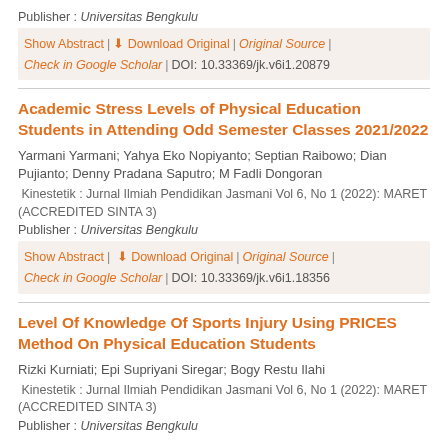Publisher : Universitas Bengkulu
Show Abstract | Download Original | Original Source | Check in Google Scholar | DOI: 10.33369/jk.v6i1.20879
Academic Stress Levels of Physical Education Students in Attending Odd Semester Classes 2021/2022
Yarmani Yarmani; Yahya Eko Nopiyanto; Septian Raibowo; Dian Pujianto; Denny Pradana Saputro; M Fadli Dongoran
Kinestetik : Jurnal Ilmiah Pendidikan Jasmani Vol 6, No 1 (2022): MARET (ACCREDITED SINTA 3)
Publisher : Universitas Bengkulu
Show Abstract | Download Original | Original Source | Check in Google Scholar | DOI: 10.33369/jk.v6i1.18356
Level Of Knowledge Of Sports Injury Using PRICES Method On Physical Education Students
Rizki Kurniati; Epi Supriyani Siregar; Bogy Restu Ilahi
Kinestetik : Jurnal Ilmiah Pendidikan Jasmani Vol 6, No 1 (2022): MARET (ACCREDITED SINTA 3)
Publisher : Universitas Bengkulu